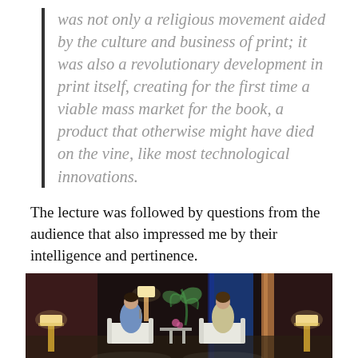was not only a religious movement aided by the culture and business of print; it was also a revolutionary development in print itself, creating for the first time a viable mass market for the book, a product that otherwise might have died on the vine, like most technological innovations.
The lecture was followed by questions from the audience that also impressed me by their intelligence and pertinence.
[Figure (photo): A stage scene showing two people seated in white chairs on a dimly lit stage, engaged in a discussion or interview. A small table with flowers is between them. Stage lamps are visible on both sides and a blue curtain and wooden pillar are in the background.]